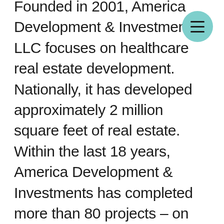Founded in 2001, America Development & Investments, LLC focuses on healthcare real estate development. Nationally, it has developed approximately 2 million square feet of real estate. Within the last 18 years, America Development & Investments has completed more than 80 projects – on time and under budget – from site selection and entitlements to design, construction, development, management, and disposition of properties. Other projects include office, mixed use,